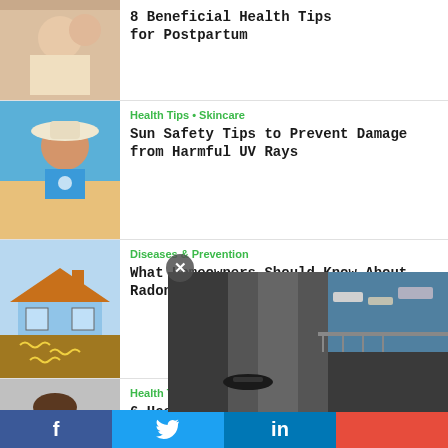[Figure (photo): Woman with baby postpartum, thumbnail partially visible]
8 Beneficial Health Tips for Postpartum
[Figure (photo): Woman on beach wearing white sun hat, sun safety]
Health Tips • Skincare
Sun Safety Tips to Prevent Damage from Harmful UV Rays
[Figure (illustration): Diagram of house with radon gas seeping from ground]
Diseases & Prevention
What Homeowners Should Know About Radon Testing
[Figure (photo): Woman smiling on couch looking at phone]
Health Tips
6 Healthy Things To Do On Your
[Figure (photo): Close-up of a red/irritated eye]
Disea...
How... Trea...
[Figure (screenshot): Video overlay: Clip Siêu Đẹp Về P... with play button, aerial road/harbor view]